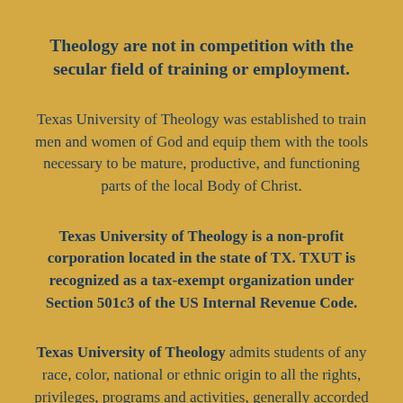Theology are not in competition with the secular field of training or employment.
Texas University of Theology was established to train men and women of God and equip them with the tools necessary to be mature, productive, and functioning parts of the local Body of Christ.
Texas University of Theology is a non-profit corporation located in the state of TX. TXUT is recognized as a tax-exempt organization under Section 501c3 of the US Internal Revenue Code.
Texas University of Theology admits students of any race, color, national or ethnic origin to all the rights, privileges, programs and activities, generally accorded or made available to students at the School. It does not discriminate on the basis of